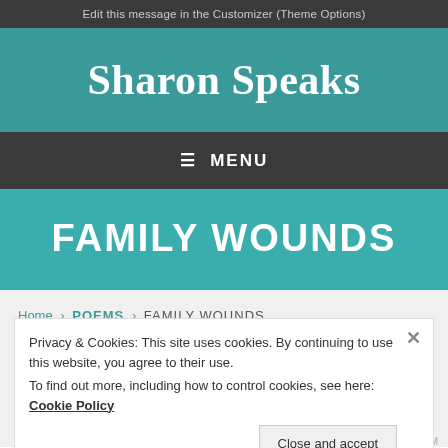Edit this message in the Customizer (Theme Options)
Sharon Speaks
≡ MENU
FAMILY WOUNDS
Home › POEMS › FAMILY WOUNDS
Privacy & Cookies: This site uses cookies. By continuing to use this website, you agree to their use.
To find out more, including how to control cookies, see here: Cookie Policy
Close and accept